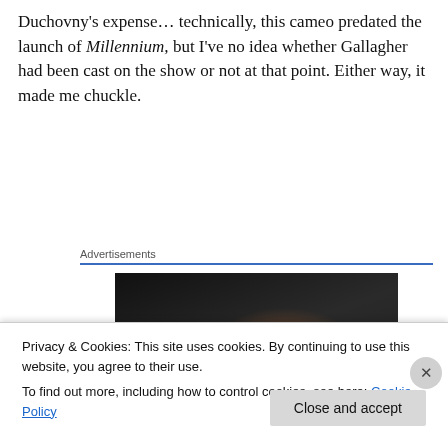Duchovny's expense… technically, this cameo predated the launch of Millennium, but I've no idea whether Gallagher had been cast on the show or not at that point. Either way, it made me chuckle.
Advertisements
[Figure (photo): A dark photograph showing a woman with reddish-brown hair, partially visible, against a dark background.]
Privacy & Cookies: This site uses cookies. By continuing to use this website, you agree to their use.
To find out more, including how to control cookies, see here: Cookie Policy
Close and accept